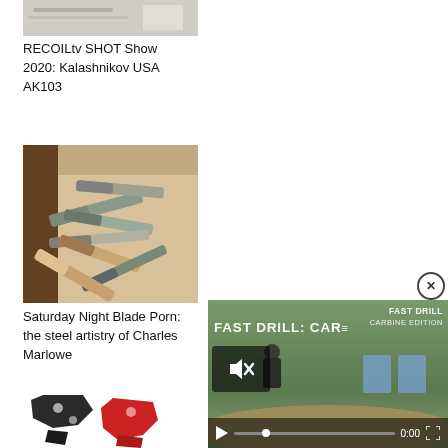[Figure (photo): Partial image visible at top — appears to be a product/gun-related item on white background]
RECOILtv SHOT Show 2020: Kalashnikov USA AK103
[Figure (photo): Collection of folding knives arranged on a surface — steel artistry by Charles Marlowe]
Saturday Night Blade Porn: the steel artistry of Charles Marlowe
[Figure (photo): Black and red firearm parts/triggers on white background]
[Figure (screenshot): Video player overlay showing FAST DRILL: CAR... title with play controls, mute icon, 0:00 timestamp, targets visible in background scene]